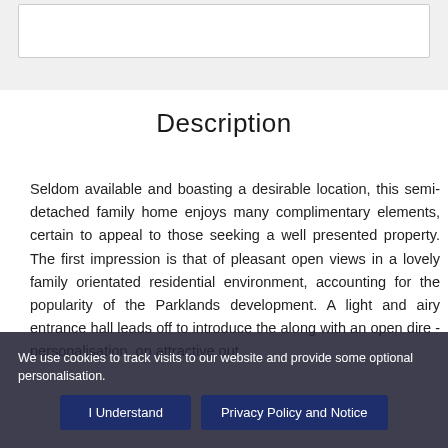[Figure (other): White rectangular box area at top of page on grey background]
Description
Seldom available and boasting a desirable location, this semi-detached family home enjoys many complimentary elements, certain to appeal to those seeking a well presented property. The first impression is that of pleasant open views in a lovely family orientated residential environment, accounting for the popularity of the Parklands development. A light and airy entrance hall leads off to introduce the ... with an open direct ... an attractive out...
We use cookies to track visits to our website and provide some optional personalisation.  I Understand  Privacy Policy and Notice